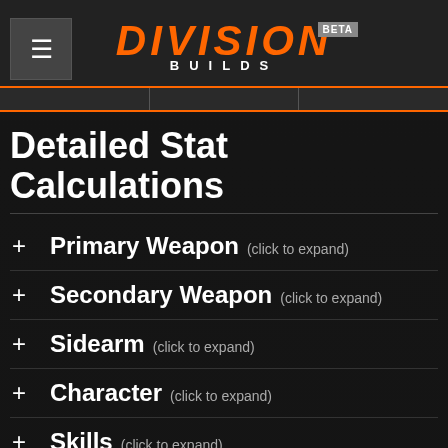DIVISION BUILDS BETA
Detailed Stat Calculations
Primary Weapon (click to expand)
Secondary Weapon (click to expand)
Sidearm (click to expand)
Character (click to expand)
Skills (click to expand)
Survivability (click to expand)